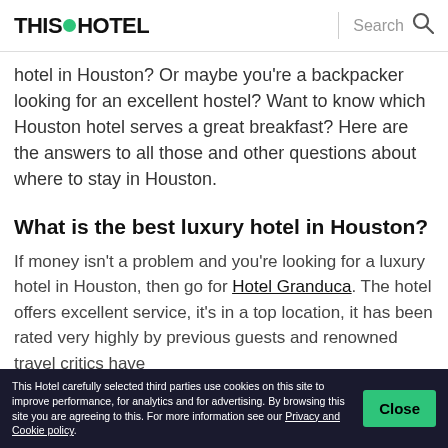THIS HOTEL | Search
hotel in Houston? Or maybe you’re a backpacker looking for an excellent hostel? Want to know which Houston hotel serves a great breakfast? Here are the answers to all those and other questions about where to stay in Houston.
What is the best luxury hotel in Houston?
If money isn’t a problem and you’re looking for a luxury hotel in Houston, then go for Hotel Granduca. The hotel offers excellent service, it’s in a top location, it has been rated very highly by previous guests and renowned travel critics have
This Hotel carefully selected third parties use cookies on this site to improve performance, for analytics and for advertising. By browsing this site you are agreeing to this. For more information see our Privacy and Cookie policy.